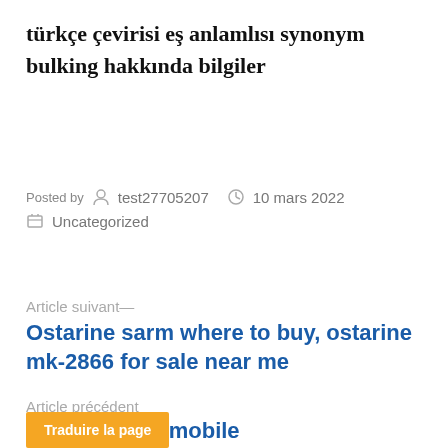türkçe çevirisi eş anlamlısı synonym bulking hakkında bilgiler
Posted by test27705207   10 mars 2022
Uncategorized
Article suivant—
Ostarine sarm where to buy, ostarine mk-2866 for sale near me
Article précédent
5 plus, 1xбет mobile
Traduire la page